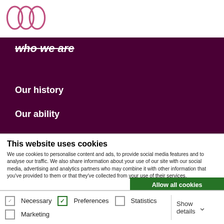[Figure (logo): Woo Commerce or similar triple-loop logo in pink/rose outline]
who we are
Our history
Our ability
This website uses cookies
We use cookies to personalise content and ads, to provide social media features and to analyse our traffic. We also share information about your use of our site with our social media, advertising and analytics partners who may combine it with other information that you've provided to them or that they've collected from your use of their services.
Allow all cookies
Allow selection
Use necessary cookies only
Necessary   Preferences   Statistics   Marketing   Show details